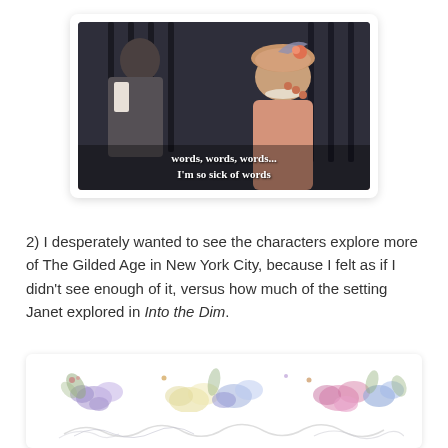[Figure (screenshot): Movie screenshot showing two characters, one in a tan hat with floral decoration. Subtitle text reads: 'words, words, words... I'm so sick of words']
2) I desperately wanted to see the characters explore more of The Gilded Age in New York City, because I felt as if I didn't see enough of it, versus how much of the setting Janet explored in Into the Dim.
[Figure (illustration): Decorative watercolor floral arrangement with pink, purple, and blue flowers, followed by decorative script text below]